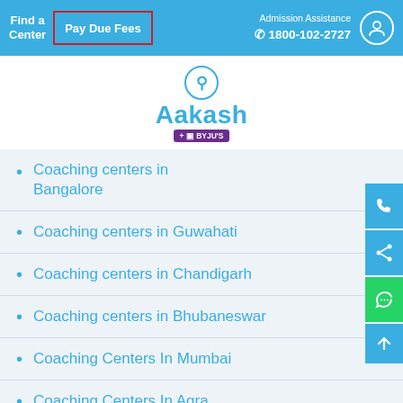Find a Center | Pay Due Fees | Admission Assistance 1800-102-2727
[Figure (logo): Aakash + BYJU'S logo with circular icon above text]
Coaching centers in Bangalore
Coaching centers in Guwahati
Coaching centers in Chandigarh
Coaching centers in Bhubaneswar
Coaching Centers In Mumbai
Coaching Centers In Agra
Coaching Centers In Jaipur
Coaching Centers In Vijayawada